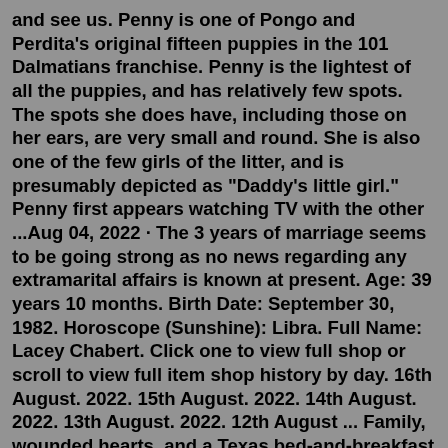and see us. Penny is one of Pongo and Perdita's original fifteen puppies in the 101 Dalmatians franchise. Penny is the lightest of all the puppies, and has relatively few spots. The spots she does have, including those on her ears, are very small and round. She is also one of the few girls of the litter, and is presumably depicted as "Daddy's little girl." Penny first appears watching TV with the other ...Aug 04, 2022 · The 3 years of marriage seems to be going strong as no news regarding any extramarital affairs is known at present. Age: 39 years 10 months. Birth Date: September 30, 1982. Horoscope (Sunshine): Libra. Full Name: Lacey Chabert. Click one to view full shop or scroll to view full item shop history by day. 16th August. 2022. 15th August. 2022. 14th August. 2022. 13th August. 2022. 12th August ... Family, wounded hearts, and a Texas bed-and-breakfast are in need of repair in New York Times bestselling author Carolyn Brown's inviting novel about down-home comfort and second chances. Cousins Tabby and Ellie Mae are due for a change...